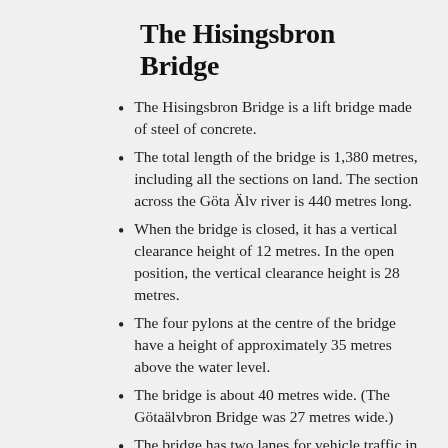The Hisingsbron Bridge
The Hisingsbron Bridge is a lift bridge made of steel of concrete.
The total length of the bridge is 1,380 metres, including all the sections on land. The section across the Göta Älv river is 440 metres long.
When the bridge is closed, it has a vertical clearance height of 12 metres. In the open position, the vertical clearance height is 28 metres.
The four pylons at the centre of the bridge have a height of approximately 35 metres above the water level.
The bridge is about 40 metres wide. (The Götaälvbron Bridge was 27 metres wide.)
The bridge has two lanes for vehicle traffic in each direction, one lane for public